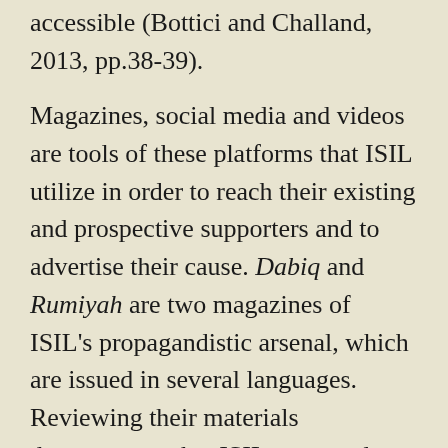accessible (Bottici and Challand, 2013, pp.38-39). Magazines, social media and videos are tools of these platforms that ISIL utilize in order to reach their existing and prospective supporters and to advertise their cause. Dabiq and Rumiyah are two magazines of ISIL's propagandistic arsenal, which are issued in several languages. Reviewing their materials demonstrates that ISIL uses modern technologies when filming, picturing, and editing.[5] Analyzing ISIL's magazines is essential to understanding how this political myth is strengthened. Moreover, these magazines help us understand how ISIL influences negative feelings among Muslims. For